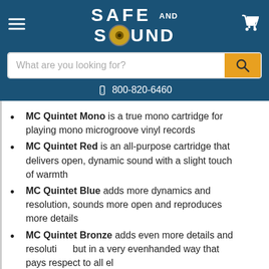Safe and Sound — 800-820-6460
MC Quintet Mono is a true mono cartridge for playing mono microgroove vinyl records
MC Quintet Red is an all-purpose cartridge that delivers open, dynamic sound with a slight touch of warmth
MC Quintet Blue adds more dynamics and resolution, sounds more open and reproduces more details
MC Quintet Bronze adds even more details and resolution, but in a very evenhanded way that pays respect to all el…
MC Quintet Black is the best of everything, true to the groove with resolution and accurate insight into each recording